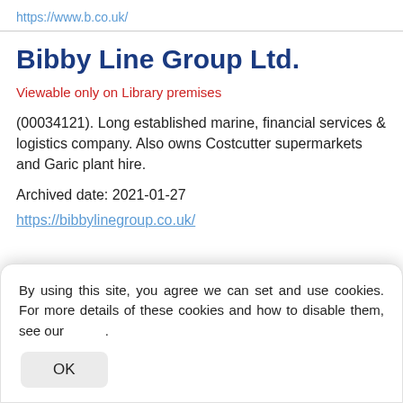https://www.b.co.uk/
Bibby Line Group Ltd.
Viewable only on Library premises
(00034121). Long established marine, financial services & logistics company. Also owns Costcutter supermarkets and Garic plant hire.
Archived date: 2021-01-27
https://bibbylinegroup.co.uk/
By using this site, you agree we can set and use cookies. For more details of these cookies and how to disable them, see our .
OK